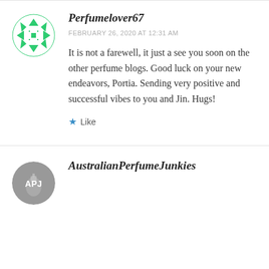[Figure (illustration): Green decorative geometric/snowflake avatar icon for user Perfumelover67]
Perfumelover67
FEBRUARY 26, 2020 AT 12:31 AM
It is not a farewell, it just a see you soon on the other perfume blogs. Good luck on your new endeavors, Portia. Sending very positive and successful vibes to you and Jin. Hugs!
★ Like
[Figure (illustration): Circular gray avatar with text APJ for AustralianPerfumeJunkies, showing a perfume bottle]
AustralianPerfumeJunkies